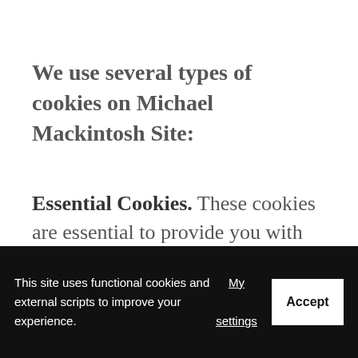We use several types of cookies on Michael Mackintosh Site:
Essential Cookies. These cookies are essential to provide you with services available through our site. For example,
This site uses functional cookies and external scripts to improve your experience. My settings Accept